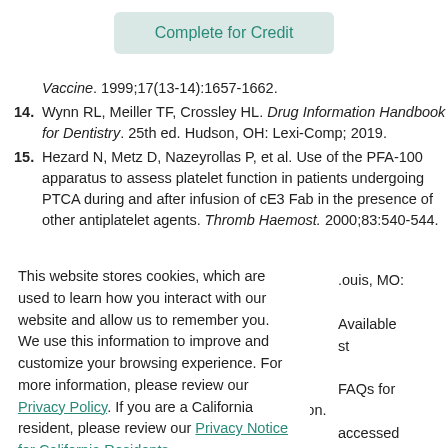Complete for Credit
Vaccine. 1999;17(13-14):1657-1662.
14. Wynn RL, Meiller TF, Crossley HL. Drug Information Handbook for Dentistry. 25th ed. Hudson, OH: Lexi-Comp; 2019.
15. Hezard N, Metz D, Nazeyrollas P, et al. Use of the PFA-100 apparatus to assess platelet function in patients undergoing PTCA during and after infusion of cE3 Fab in the presence of other antiplatelet agents. Thromb Haemost. 2000;83:540-544.
This website stores cookies, which are used to learn how you interact with our website and allow us to remember you. We use this information to improve and customize your browsing experience. For more information, please review our Privacy Policy. If you are a California resident, please review our Privacy Notice for California Residents.
Accept
.ouis, MO:
Available st
FAQs for
accessed
eases.
20. Centers for Disease Control and Prevention. Recommendations